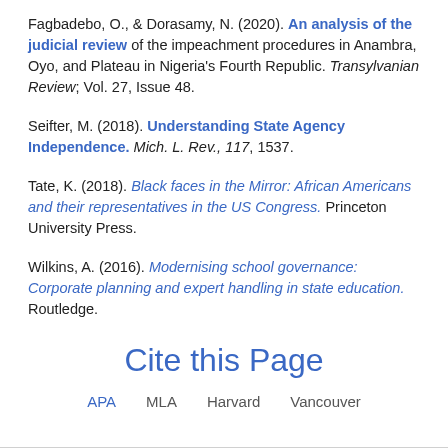Fagbadebo, O., & Dorasamy, N. (2020). An analysis of the judicial review of the impeachment procedures in Anambra, Oyo, and Plateau in Nigeria's Fourth Republic. Transylvanian Review, Vol. 27, Issue 48.
Seifter, M. (2018). Understanding State Agency Independence. Mich. L. Rev., 117, 1537.
Tate, K. (2018). Black faces in the Mirror: African Americans and their representatives in the US Congress. Princeton University Press.
Wilkins, A. (2016). Modernising school governance: Corporate planning and expert handling in state education. Routledge.
Cite this Page
APA | MLA | Harvard | Vancouver